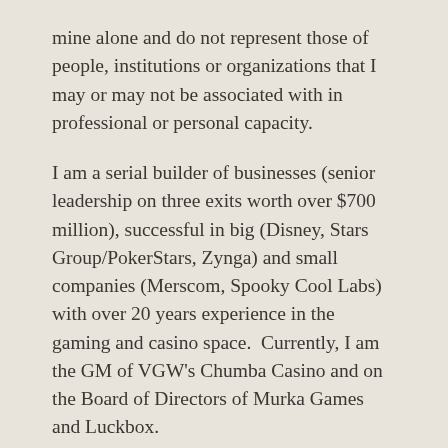mine alone and do not represent those of people, institutions or organizations that I may or may not be associated with in professional or personal capacity.
I am a serial builder of businesses (senior leadership on three exits worth over $700 million), successful in big (Disney, Stars Group/PokerStars, Zynga) and small companies (Merscom, Spooky Cool Labs) with over 20 years experience in the gaming and casino space. Currently, I am the GM of VGW's Chumba Casino and on the Board of Directors of Murka Games and Luckbox.